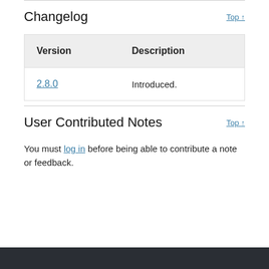Changelog
| Version | Description |
| --- | --- |
| 2.8.0 | Introduced. |
User Contributed Notes
You must log in before being able to contribute a note or feedback.